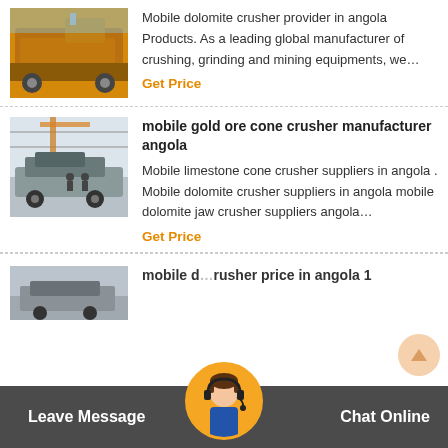[Figure (photo): Yellow industrial crushing/mining machine on a vehicle, outdoor setting]
Mobile dolomite crusher provider in angola Products. As a leading global manufacturer of crushing, grinding and mining equipments, we…
Get Price
[Figure (photo): Mobile cone crusher on a trailer inside a large industrial facility]
mobile gold ore cone crusher manufacturer angola
Mobile limestone cone crusher suppliers in angola . Mobile dolomite crusher suppliers in angola mobile dolomite jaw crusher suppliers angola…
Get Price
[Figure (photo): Partial view of industrial machinery in a factory, cut off at bottom]
mobile dolomite crusher price in angola 1
Leave Message   Chat Online